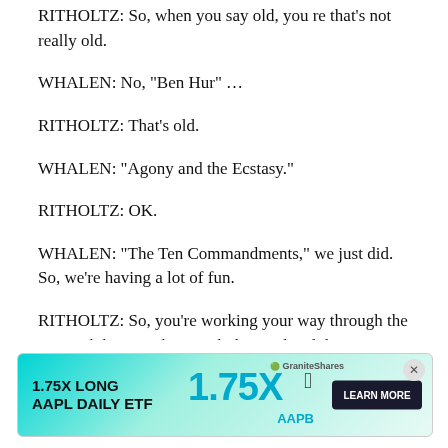RITHOLTZ: So, when you say old, you re that’s not really old.
WHALEN: No, “Ben Hur” …
RITHOLTZ: That’s old.
WHALEN: “Agony and the Ecstasy.”
RITHOLTZ: OK.
WHALEN: “The Ten Commandments,” we just did. So, we’re having a lot of fun.
RITHOLTZ: So, you’re working your way through the ’30s and the ’40s along with the Ford and the post-Depression era in your …
WHA… girls wan… Charlton was a good-looking guy.
[Figure (other): Advertisement banner for GraniteShares 1.75X Long AAPL Daily ETF (AAPB) with teal gradient background, large '1.75X' text, Apple logo, and 'Learn More' button.]